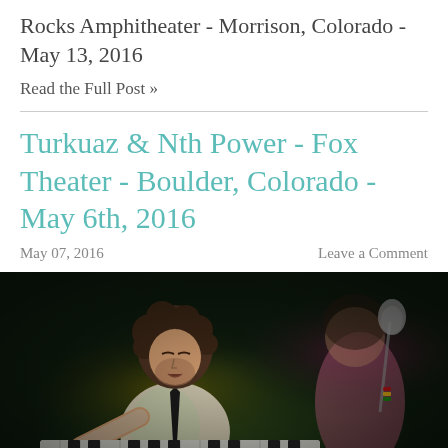Rocks Amphitheater - Morrison, Colorado - May 13, 2016
Read the Full Post »
Turkuaz & Nth Power - Fox Theater - Boulder, Colorado - May 6th, 2016
May 07, 2016    Leave a Comment
[Figure (photo): Concert photo of a curly-haired male musician in a white shirt and black tie playing a keyboard/synthesizer on a dark stage, with a female singer visible in the background near a microphone.]